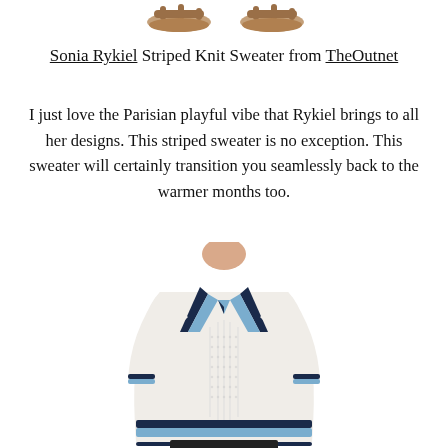[Figure (photo): Two brown sandals/slides shown at the top of the page]
Sonia Rykiel Striped Knit Sweater from TheOutnet
I just love the Parisian playful vibe that Rykiel brings to all her designs. This striped sweater is no exception. This sweater will certainly transition you seamlessly back to the warmer months too.
[Figure (photo): A woman wearing a white Sonia Rykiel striped knit V-neck sweater with navy and light blue stripe trim at the neckline and hem, over black leather pants]